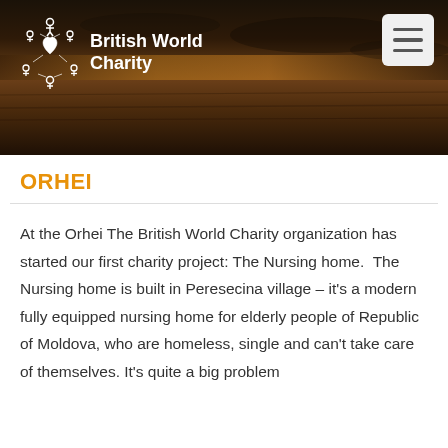[Figure (photo): Dark landscape hero image with a sunset/dusk sky over a flat terrain, used as website header background. British World Charity logo on the left and a hamburger menu button on the right.]
ORHEI
At the Orhei The British World Charity organization has started our first charity project: The Nursing home. The Nursing home is built in Peresecina village – it's a modern fully equipped nursing home for elderly people of Republic of Moldova, who are homeless, single and can't take care of themselves. It's quite a big problem